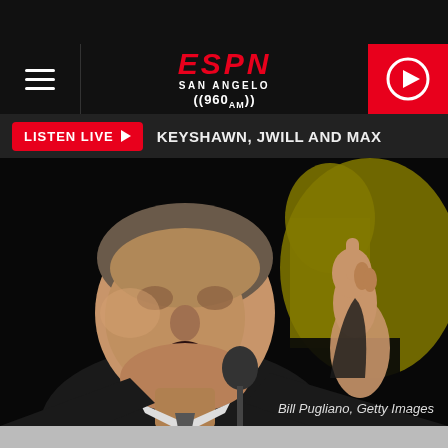[Figure (screenshot): ESPN San Angelo 960 AM mobile app screenshot showing navigation bar with hamburger menu, ESPN logo, and red play button]
LISTEN LIVE ▶  KEYSHAWN, JWILL AND MAX
[Figure (photo): Man speaking at microphone with one finger raised, dark background with yellow letter visible. Credit: Bill Pugliano, Getty Images]
Bill Pugliano, Getty Images